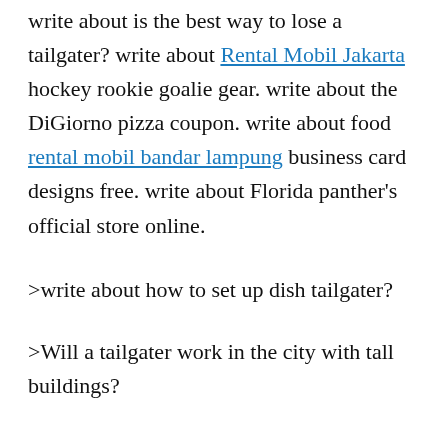write about is the best way to lose a tailgater? write about Rental Mobil Jakarta hockey rookie goalie gear. write about the DiGiorno pizza coupon. write about food rental mobil bandar lampung business card designs free. write about Florida panther's official store online.
>write about how to set up dish tailgater?
>Will a tailgater work in the city with tall buildings?